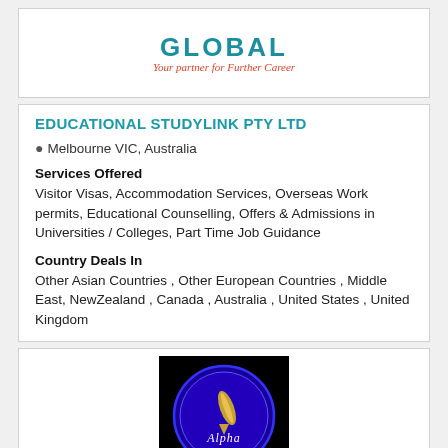[Figure (logo): GLOBAL - Your partner for Further Career logo in teal/red text]
EDUCATIONAL STUDYLINK PTY LTD
Melbourne VIC, Australia
Services Offered
Visitor Visas, Accommodation Services, Overseas Work permits, Educational Counselling, Offers & Admissions in Universities / Colleges, Part Time Job Guidance
Country Deals In
Other Asian Countries , Other European Countries , Middle East, NewZealand , Canada , Australia , United States , United Kingdom
[Figure (logo): Alpha Education logo — blue circle with feather pen on black background]